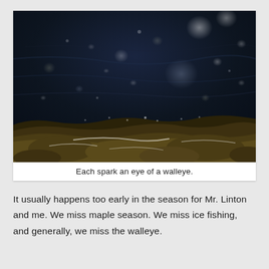[Figure (photo): A dark nighttime photograph of water surface with light reflections (bokeh light spots) and rocky shoreline at the bottom. The water is very dark navy/black with scattered circular light reflections. Rocks with algae or moss are visible along the bottom edge.]
Each spark an eye of a walleye.
It usually happens too early in the season for Mr. Linton and me. We miss maple season. We miss ice fishing, and generally, we miss the walleye.